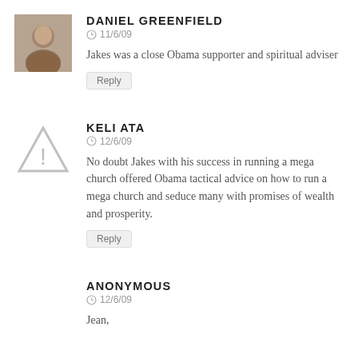DANIEL GREENFIELD
11/6/09
Jakes was a close Obama supporter and spiritual adviser
Reply
KELI ATA
12/6/09
No doubt Jakes with his success in running a mega church offered Obama tactical advice on how to run a mega church and seduce many with promises of wealth and prosperity.
Reply
ANONYMOUS
12/6/09
Jean,